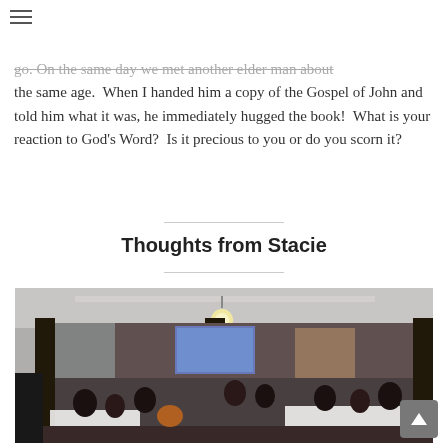go.  On the same day we met another elder man about the same age.  When I handed him a copy of the Gospel of John and told him what it was, he immediately hugged the book!  What is your reaction to God's Word?  Is it precious to you or do you scorn it?
Thoughts from Stacie
[Figure (photo): Interior of a large community hall or church gathering space filled with people seated at tables. A projection screen is visible at the front. The room has a suspended ceiling with light fixtures and dark wooden pillars. People appear to be attending a meeting or church service.]